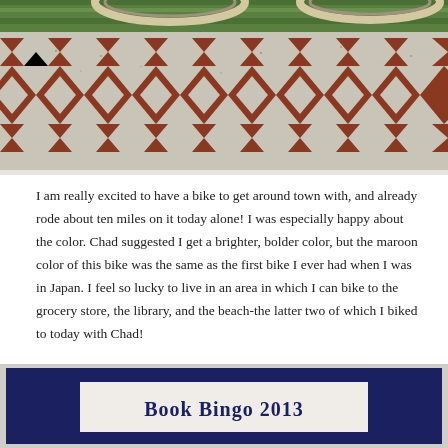[Figure (photo): Outdoor photo showing decorative geometric Southwestern-style patterned pavement (red/brown and white/grey diamond and triangle patterns) with green grass visible at the top edge, and what appear to be bike wheels at the very top.]
I am really excited to have a bike to get around town with, and already rode about ten miles on it today alone! I was especially happy about the color. Chad suggested I get a brighter, bolder color, but the maroon color of this bike was the same as the first bike I ever had when I was in Japan. I feel so lucky to live in an area in which I can bike to the grocery store, the library, and the beach-the latter two of which I biked to today with Chad!
[Figure (photo): Photo showing a piece of paper with dark blue text reading 'Book Bingo 2013' on what appears to be a dark blue background, partially visible at the bottom of the page.]